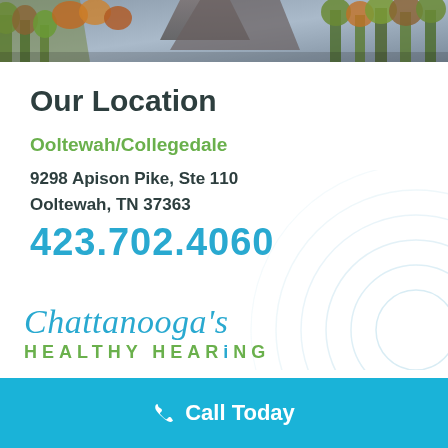[Figure (photo): Landscape photo showing trees and rocky hillside with autumn foliage at the top of the page]
Our Location
Ooltewah/Collegedale
9298 Apison Pike, Ste 110
Ooltewah, TN 37363
423.702.4060
[Figure (logo): Chattanooga's Healthy Hearing logo with ripple/sound wave circles in background]
Call Today